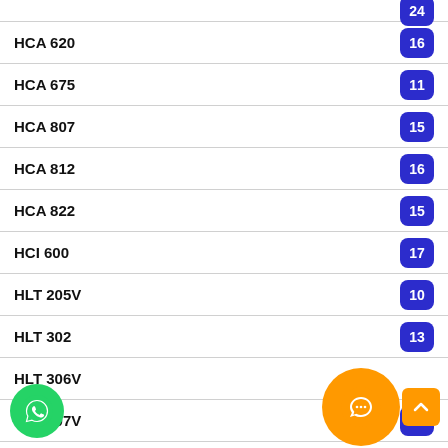HCA 620
HCA 675
HCA 807
HCA 812
HCA 822
HCI 600
HLT 205V
HLT 302
HLT 306V
HLT 307V